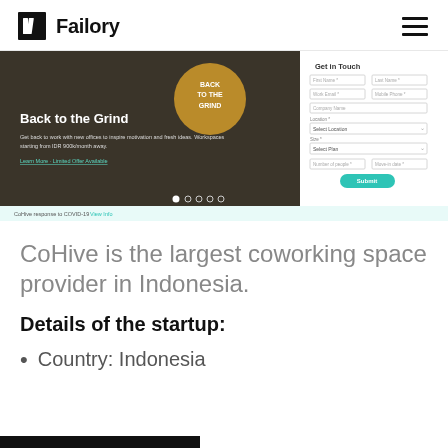Failory
[Figure (screenshot): Screenshot of CoHive website showing 'Back to the Grind' hero section with a coworking space photo, text about getting back to work with new offices, a 'Get in Touch' form on the right with fields for First Name, Last Name, Work Email, Mobile Phone, Company Name, Location, Size, Number of people, Move-in Date, and a teal Submit button. Navigation dots and COVID-19 response banner visible at bottom.]
CoHive is the largest coworking space provider in Indonesia.
Details of the startup:
Country: Indonesia